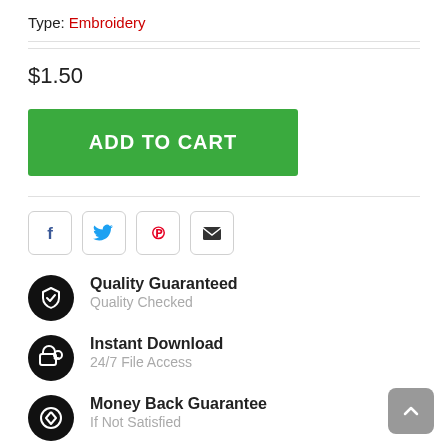Type: Embroidery
$1.50
ADD TO CART
[Figure (infographic): Social share buttons: Facebook (blue F), Twitter (blue bird), Pinterest (red P), Email (envelope)]
Quality Guaranteed — Quality Checked
Instant Download — 24/7 File Access
Money Back Guarantee — If Not Satisfied